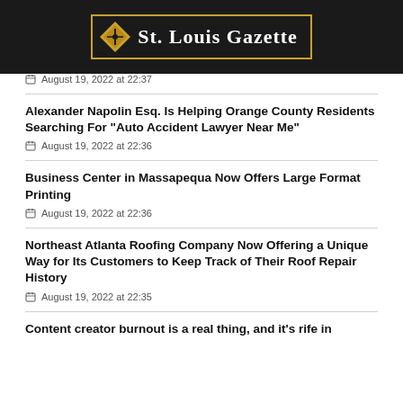St. Louis Gazette
August 19, 2022 at 22:37
Alexander Napolin Esq. Is Helping Orange County Residents Searching For "Auto Accident Lawyer Near Me"
August 19, 2022 at 22:36
Business Center in Massapequa Now Offers Large Format Printing
August 19, 2022 at 22:36
Northeast Atlanta Roofing Company Now Offering a Unique Way for Its Customers to Keep Track of Their Roof Repair History
August 19, 2022 at 22:35
Content creator burnout is a real thing, and it's rife in